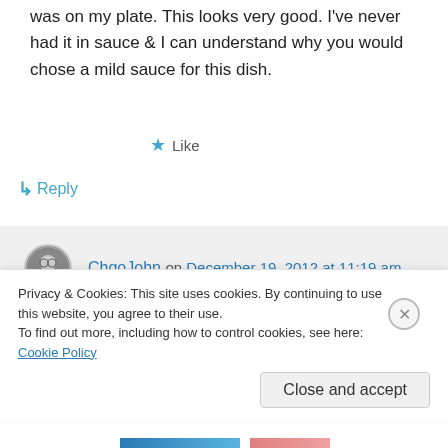was on my plate. This looks very good. I've never had it in sauce & I can understand why you would chose a mild sauce for this dish.
★ Like
↳ Reply
ChgoJohn on December 19, 2012 at 11:19 am
Thanks, Diane, I can definitely understand your views. It's not as if I was totally at
Privacy & Cookies: This site uses cookies. By continuing to use this website, you agree to their use.
To find out more, including how to control cookies, see here: Cookie Policy
Close and accept